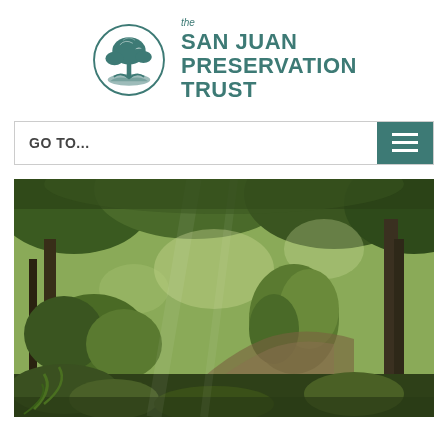[Figure (logo): San Juan Preservation Trust logo — circular emblem with tree and nature imagery in teal/dark green, with text 'the SAN JUAN PRESERVATION TRUST' to the right in teal bold uppercase]
[Figure (screenshot): Navigation bar with 'GO TO...' text on left and hamburger menu icon (three horizontal lines) on right in teal background]
[Figure (photo): Photograph of a forested ravine or woodland area with dappled sunlight filtering through trees, showing green shrubs, moss-covered ground, fallen leaves, and tree trunks in a natural Pacific Northwest setting]